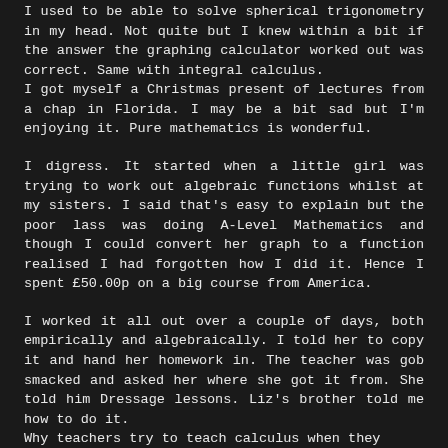I used to be able to solve spherical trigonometry in my head. Not quite but I knew within a bit if the answer the graphing calculator worked out was correct. Same with integral calculus. I got myself a Christmas present of lectures from a chap in Florida. I may be a bit sad but I'm enjoying it. Pure mathematics is wonderful.
I digress. It started when a little girl was trying to work out algebraic functions whilst at my sisters. I said that's easy to explain but the poor lass was doing A-Level Mathematics and though I could convert her graph to a function realised I had forgotten how I did it. Hence I spent £50.00p on a big course from America.
I worked it all out over a couple of days, both empirically and algebraically. I told her to copy it and hand her homework in. The teacher was gob smacked and asked her where she got it from. She told him Dressage lessons. Liz's brother told me how to do it. Why teachers try to teach calculus when they